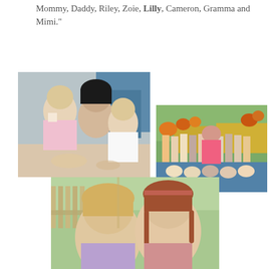Mommy, Daddy, Riley, Zoie, Lilly, Cameron, Gramma and Mimi."
[Figure (photo): A woman with dark hair sitting with two young girls, one in a pink shirt and one in a white shirt that says "mommy's", appears to be at a table with food]
[Figure (photo): A group photo of children and a teacher/adult sitting outdoors in front of hay bales and pumpkins, likely a fall school photo]
[Figure (photo): Two young girls smiling at the camera outdoors, one blonde and one with reddish-brown braids and a pink shirt]